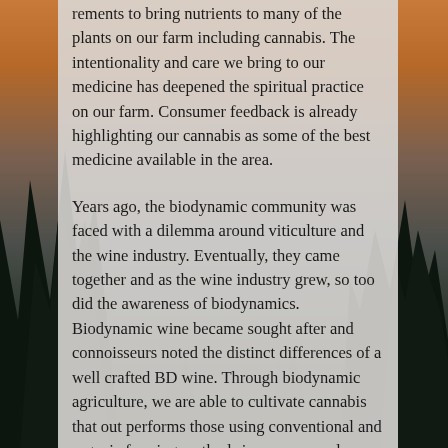[Figure (photo): Background photo of a sunset sky with silhouetted trees, showing orange and dark tones]
rements to bring nutrients to many of the plants on our farm including cannabis. The intentionality and care we bring to our medicine has deepened the spiritual practice on our farm. Consumer feedback is already highlighting our cannabis as some of the best medicine available in the area.
Years ago, the biodynamic community was faced with a dilemma around viticulture and the wine industry. Eventually, they came together and as the wine industry grew, so too did the awareness of biodynamics. Biodynamic wine became sought after and connoisseurs noted the distinct differences of a well crafted BD wine. Through biodynamic agriculture, we are able to cultivate cannabis that out performs those using conventional and organic farming methods in our area and cannabis farmers are becoming curious about biodynamics. Now is the time for biodynamics to embrace this inherent